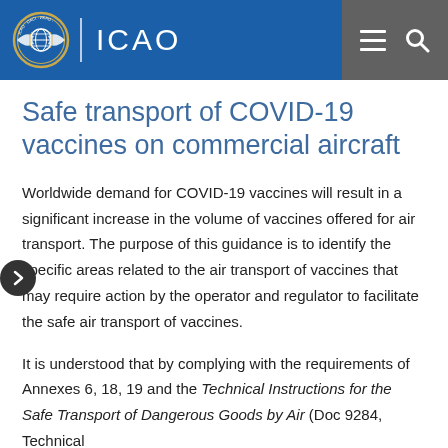ICAO
Safe transport of COVID-19 vaccines on commercial aircraft
Worldwide demand for COVID-19 vaccines will result in a significant increase in the volume of vaccines offered for air transport. The purpose of this guidance is to identify the specific areas related to the air transport of vaccines that may require action by the operator and regulator to facilitate the safe air transport of vaccines.
It is understood that by complying with the requirements of Annexes 6, 18, 19 and the Technical Instructions for the Safe Transport of Dangerous Goods by Air (Doc 9284, Technical